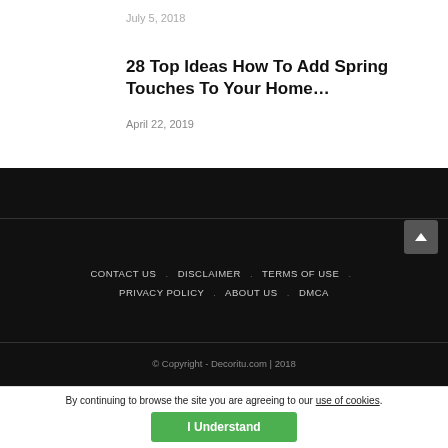July 5, 2018
28 Top Ideas How To Add Spring Touches To Your Home…
April 22, 2019
CONTACT US . DISCLAIMER . TERMS OF USE . PRIVACY POLICY . ABOUT US . DMCA
© Copyright - Decoritu.com | 2018
By continuing to browse the site you are agreeing to our use of cookies.
I Understand